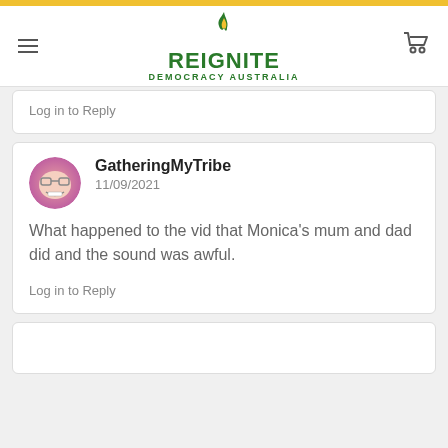[Figure (logo): Reignite Democracy Australia logo with flame icon and green text]
Log in to Reply
GatheringMyTribe
11/09/2021
What happened to the vid that Monica's mum and dad did and the sound was awful.
Log in to Reply